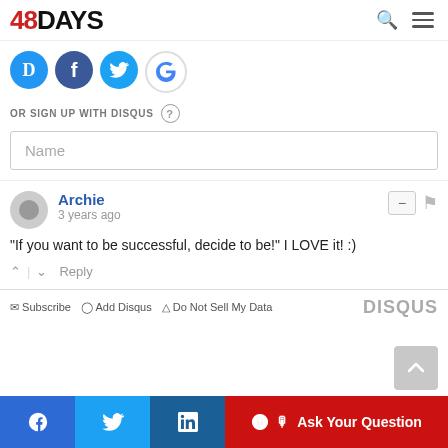48DAYS
[Figure (logo): Social login icons: Disqus (D), Facebook (f), Twitter bird, Google (G)]
OR SIGN UP WITH DISQUS ?
Name
Archie
3 years ago
"If you want to be successful, decide to be!" I LOVE it! :)
Subscribe  Add Disqus  Do Not Sell My Data  DISQUS
[Figure (screenshot): Scroll to top arrow button]
[Figure (infographic): Bottom share bar with Facebook, Twitter, LinkedIn buttons and Ask Your Question button]